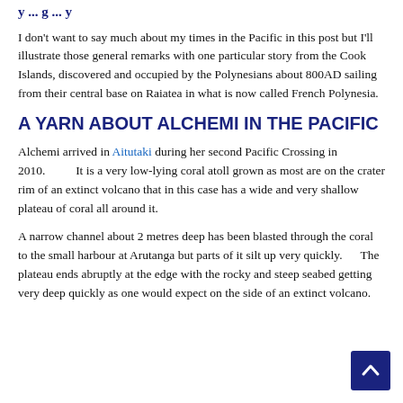y ... g ... y
I don't want to say much about my times in the Pacific in this post but I'll illustrate those general remarks with one particular story from the Cook Islands, discovered and occupied by the Polynesians about 800AD sailing from their central base on Raiatea in what is now called French Polynesia.
A YARN ABOUT ALCHEMI IN THE PACIFIC
Alchemi arrived in Aitutaki during her second Pacific Crossing in 2010.          It is a very low-lying coral atoll grown as most are on the crater rim of an extinct volcano that in this case has a wide and very shallow plateau of coral all around it.
A narrow channel about 2 metres deep has been blasted through the coral to the small harbour at Arutanga but parts of it silt up very quickly.      The plateau ends abruptly at the edge with the rocky and steep seabed getting very deep quickly as one would expect on the side of an extinct volcano.